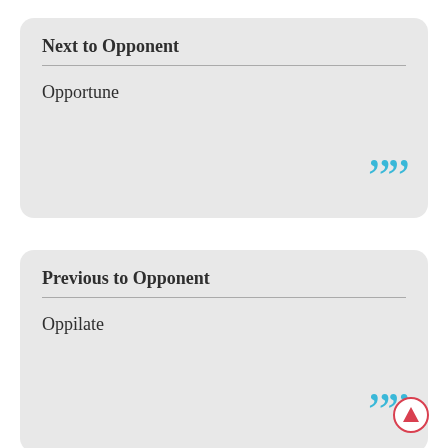Next to Opponent
Opportune
Previous to Opponent
Oppilate